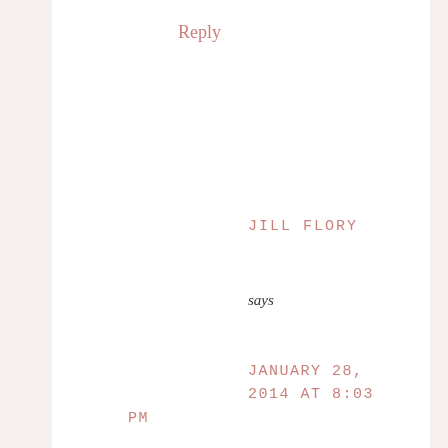Reply
JILL FLORY
says
JANUARY 28, 2014 AT 8:03 PM
Thanks Kelly – I can't
We are using cookies to give you the best experience on our website.
You can find out more about which cookies we are using or switch them off in settings.
Accept